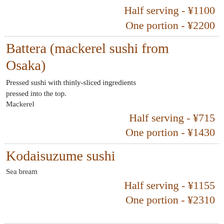Half serving - ¥1100
One portion - ¥2200
Battera (mackerel sushi from Osaka)
Pressed sushi with thinly-sliced ingredients pressed into the top.
Mackerel
Half serving - ¥715
One portion - ¥1430
Kodaisuzume sushi
Sea bream
Half serving - ¥1155
One portion - ¥2310